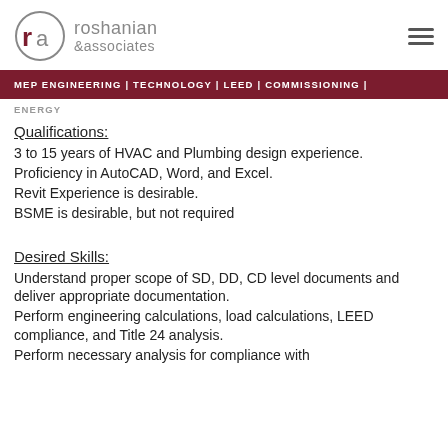[Figure (logo): Roshanian & Associates logo with stylized 'ra' icon and company name]
MEP ENGINEERING | TECHNOLOGY | LEED | COMMISSIONING | ENERGY
Qualifications:
3 to 15 years of HVAC and Plumbing design experience.
Proficiency in AutoCAD, Word, and Excel.
Revit Experience is desirable.
BSME is desirable, but not required
Desired Skills:
Understand proper scope of SD, DD, CD level documents and deliver appropriate documentation.
Perform engineering calculations, load calculations, LEED compliance, and Title 24 analysis.
Perform necessary analysis for compliance with